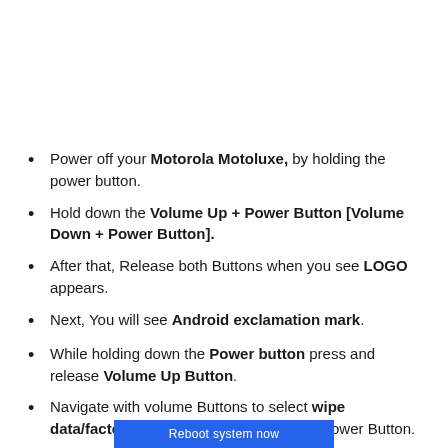Power off your Motorola Motoluxe, by holding the power button.
Hold down the Volume Up + Power Button [Volume Down + Power Button].
After that, Release both Buttons when you see LOGO appears.
Next, You will see Android exclamation mark.
While holding down the Power button press and release Volume Up Button.
Navigate with volume Buttons to select wipe data/factory reset option and Press the Power Button.
[Figure (screenshot): Blue button bar at bottom of screen showing 'Reboot system now' option]